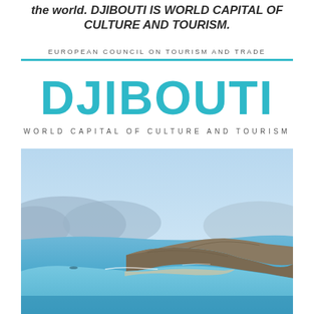the world. DJIBOUTI IS WORLD CAPITAL OF CULTURE AND TOURISM.
EUROPEAN COUNCIL ON TOURISM AND TRADE
DJIBOUTI
WORLD CAPITAL OF CULTURE AND TOURISM
[Figure (photo): Aerial view of a coastal landscape in Djibouti, showing clear blue water, a rocky peninsula, and mountains in the background under a pale blue sky.]